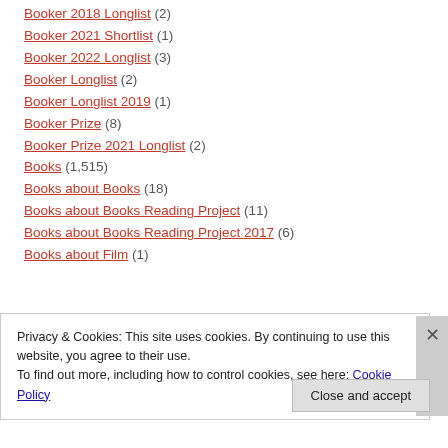Booker 2018 Longlist (2)
Booker 2021 Shortlist (1)
Booker 2022 Longlist (3)
Booker Longlist (2)
Booker Longlist 2019 (1)
Booker Prize (8)
Booker Prize 2021 Longlist (2)
Books (1,515)
Books about Books (18)
Books about Books Reading Project (11)
Books about Books Reading Project 2017 (6)
Books about Film (1)
Privacy & Cookies: This site uses cookies. By continuing to use this website, you agree to their use. To find out more, including how to control cookies, see here: Cookie Policy
Close and accept